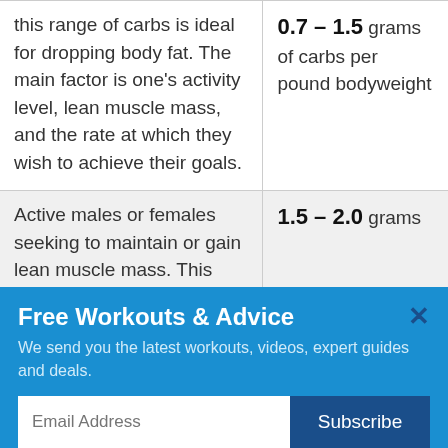| this range of carbs is ideal for dropping body fat. The main factor is one's activity level, lean muscle mass, and the rate at which they wish to achieve their goals. | 0.7 – 1.5 grams of carbs per pound bodyweight |
| Active males or females seeking to maintain or gain lean muscle mass. This range is ideal for bulking or | 1.5 – 2.0 grams |
Free Workouts & Advice
We send you the latest workouts, videos, expert guides and deals.